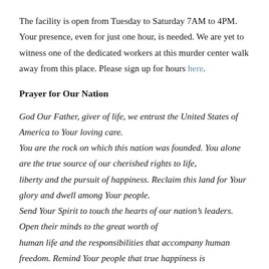The facility is open from Tuesday to Saturday 7AM to 4PM. Your presence, even for just one hour, is needed. We are yet to witness one of the dedicated workers at this murder center walk away from this place. Please sign up for hours here.
Prayer for Our Nation
God Our Father, giver of life, we entrust the United States of America to Your loving care.
You are the rock on which this nation was founded. You alone are the true source of our cherished rights to life,
liberty and the pursuit of happiness. Reclaim this land for Your glory and dwell among Your people.
Send Your Spirit to touch the hearts of our nation’s leaders. Open their minds to the great worth of
human life and the responsibilities that accompany human freedom. Remind Your people that true happiness is